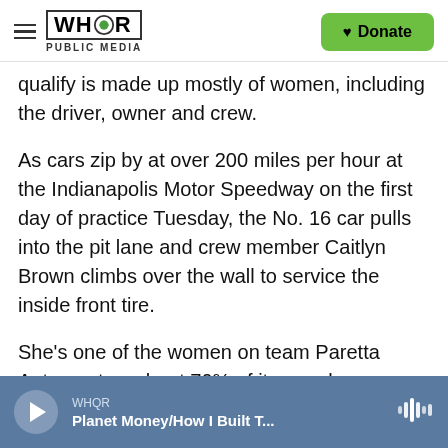WHQR PUBLIC MEDIA | Donate
qualify is made up mostly of women, including the driver, owner and crew.
As cars zip by at over 200 miles per hour at the Indianapolis Motor Speedway on the first day of practice Tuesday, the No. 16 car pulls into the pit lane and crew member Caitlyn Brown climbs over the wall to service the inside front tire.
She's one of the women on team Paretta Autosport — about 70% of its members are women. Brown is excited to be in the public's eye.
WHQR | Planet Money/How I Built T...